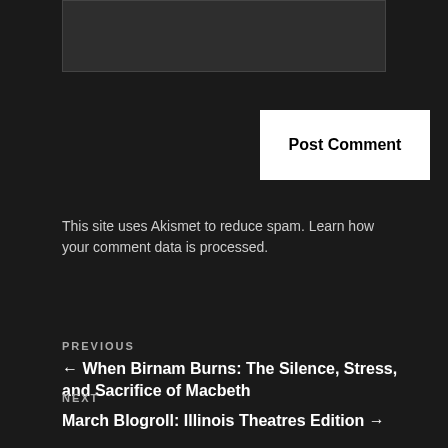[Figure (other): Textarea input box (dark background)]
Post Comment
This site uses Akismet to reduce spam. Learn how your comment data is processed.
PREVIOUS
← When Birnam Burns: The Silence, Stress, and Sacrifice of Macbeth
NEXT
March Blogroll: Illinois Theatres Edition →